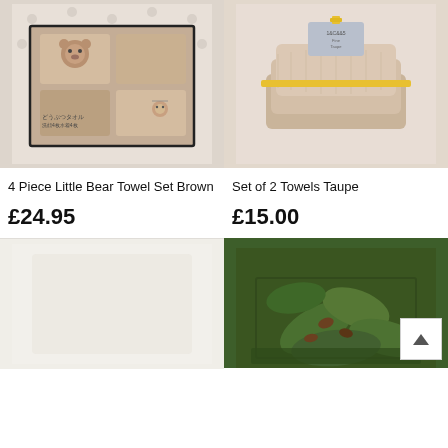[Figure (photo): 4 Piece Little Bear Towel Set Brown - a gift box with bear-themed towels in brown/beige tones with Japanese text]
[Figure (photo): Set of 2 Towels Taupe - a stack of two fluffy taupe-colored towels tied with a yellow ribbon]
4 Piece Little Bear Towel Set Brown
Set of 2 Towels Taupe
£24.95
£15.00
[Figure (photo): Partially visible product image - bottom left, light background]
[Figure (photo): Partially visible product in green decorative box with floral/botanical pattern]